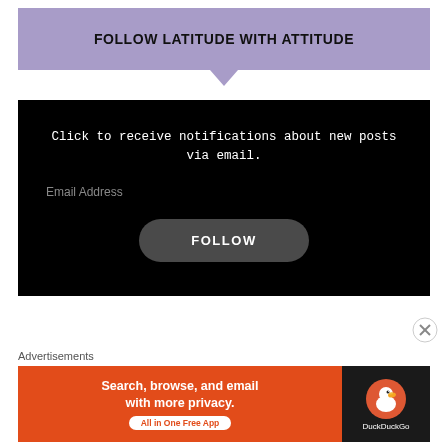FOLLOW LATITUDE WITH ATTITUDE
Click to receive notifications about new posts via email.
Email Address
FOLLOW
Advertisements
[Figure (screenshot): DuckDuckGo advertisement banner: orange background with text 'Search, browse, and email with more privacy. All in One Free App' and DuckDuckGo duck logo on dark background]